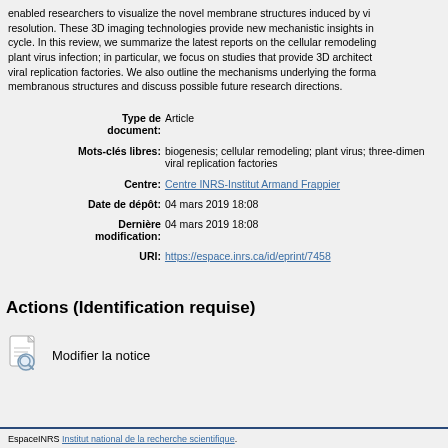enabled researchers to visualize the novel membrane structures induced by viral infection at high resolution. These 3D imaging technologies provide new mechanistic insights into the viral replication cycle. In this review, we summarize the latest reports on the cellular remodeling that occurs during plant virus infection; in particular, we focus on studies that provide 3D architectural information on viral replication factories. We also outline the mechanisms underlying the formation of these membranous structures and discuss possible future research directions.
| Field | Value |
| --- | --- |
| Type de document: | Article |
| Mots-clés libres: | biogenesis; cellular remodeling; plant virus; three-dimensional imaging; viral replication factories |
| Centre: | Centre INRS-Institut Armand Frappier |
| Date de dépôt: | 04 mars 2019 18:08 |
| Dernière modification: | 04 mars 2019 18:08 |
| URI: | https://espace.inrs.ca/id/eprint/7458 |
Actions (Identification requise)
[Figure (illustration): Document/search icon representing 'Modifier la notice']
Modifier la notice
EspaceINRS Institut national de la recherche scientifique.